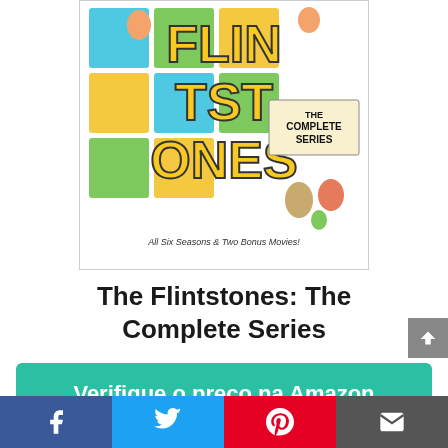[Figure (illustration): The Flintstones: The Complete Series DVD box cover showing cartoon characters, colorful block letters spelling out Flintstones, 'THE COMPLETE SERIES' text, 'All Six Seasons & Two Bonus Movies!' subtitle]
The Flintstones: The Complete Series
Verifique o preço na Amazon
Amazon.com.br
Facebook | Twitter | Pinterest | Email social share bar